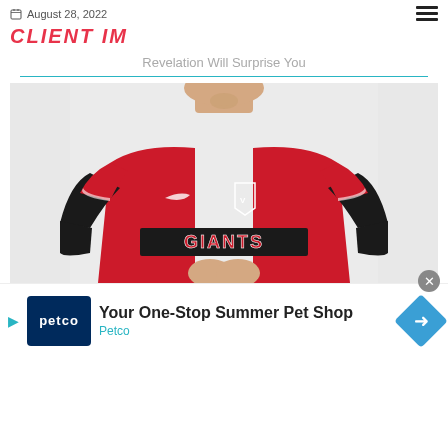August 28, 2022
CLIENT IM
Revelation Will Surprise You
[Figure (photo): Young man with beard wearing a red Nike Giants jersey over a black long-sleeve shirt, standing against a light gray background, hands clasped in front]
Your One-Stop Summer Pet Shop — Petco (advertisement)